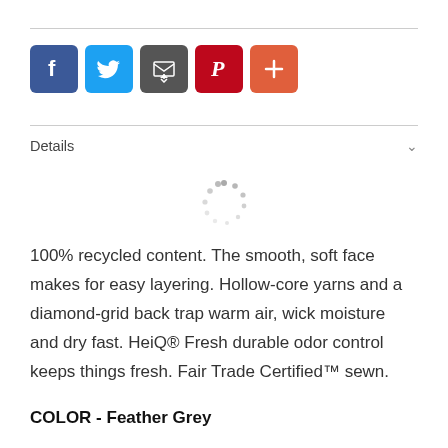[Figure (infographic): Social media sharing icons: Facebook (blue), Twitter (light blue), Email (dark grey), Pinterest (red), Add/More (orange-red)]
Details
[Figure (other): Loading spinner animation (circular dotted spinner)]
100% recycled content. The smooth, soft face makes for easy layering. Hollow-core yarns and a diamond-grid back trap warm air, wick moisture and dry fast. HeiQ® Fresh durable odor control keeps things fresh. Fair Trade Certified™ sewn.
COLOR - Feather Grey